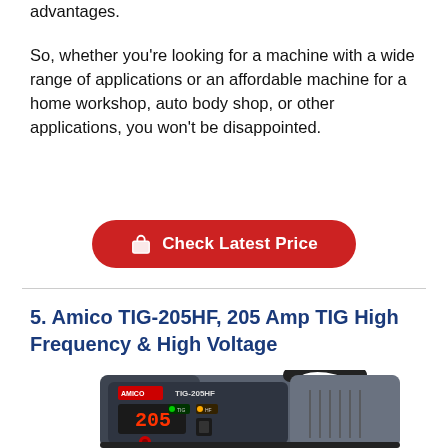advantages.
So, whether you're looking for a machine with a wide range of applications or an affordable machine for a home workshop, auto body shop, or other applications, you won't be disappointed.
[Figure (other): Red rounded button with shopping bag icon and text 'Check Latest Price']
5. Amico TIG-205HF, 205 Amp TIG High Frequency & High Voltage
[Figure (photo): Photo of Amico TIG-205HF welding machine, grey/black unit with digital display showing 205, handle on top, control panel with TIG-205HF label]